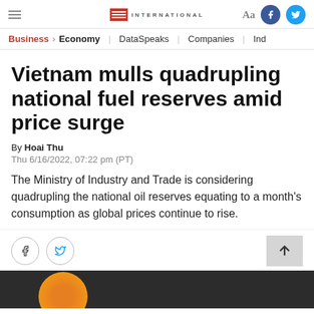VnExpress International — Business > Economy | DataSpeaks | Companies | Ind
Vietnam mulls quadrupling national fuel reserves amid price surge
By Hoai Thu
Thu 6/16/2022, 07:22 pm (PT)
The Ministry of Industry and Trade is considering quadrupling the national oil reserves equating to a month's consumption as global prices continue to rise.
[Figure (photo): Bottom portion of article page showing share icons (Facebook, Twitter) and back-to-top button, plus partial image at bottom]